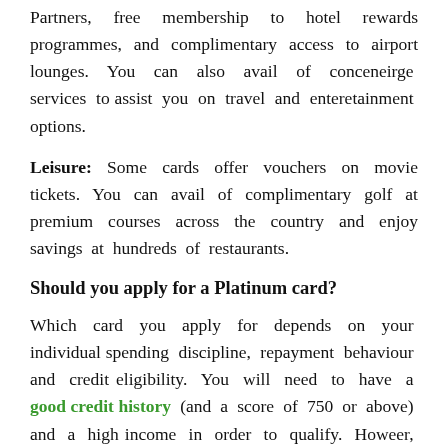Partners, free membership to hotel rewards programmes, and complimentary access to airport lounges. You can also avail of conceneirge services to assist you on travel and enteretainment options.
Leisure: Some cards offer vouchers on movie tickets. You can avail of complimentary golf at premium courses across the country and enjoy savings at hundreds of restaurants.
Should you apply for a Platinum card?
Which card you apply for depends on your individual spending discipline, repayment behaviour and credit eligibility. You will need to have a good credit history (and a score of 750 or above) and a high income in order to qualify. Howeer, you need to also look at whether the benefits are of use to you.
Privileges: If you do not play golf, then a card that